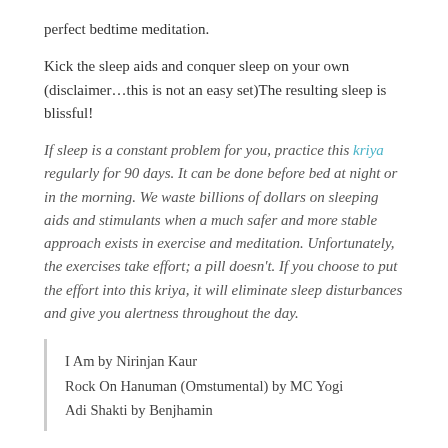perfect bedtime meditation.
Kick the sleep aids and conquer sleep on your own (disclaimer…this is not an easy set)The resulting sleep is blissful!
If sleep is a constant problem for you, practice this kriya regularly for 90 days. It can be done before bed at night or in the morning. We waste billions of dollars on sleeping aids and stimulants when a much safer and more stable approach exists in exercise and meditation. Unfortunately, the exercises take effort; a pill doesn't. If you choose to put the effort into this kriya, it will eliminate sleep disturbances and give you alertness throughout the day.
I Am by Nirinjan Kaur
Rock On Hanuman (Omstumental) by MC Yogi
Adi Shakti by Benjhamin